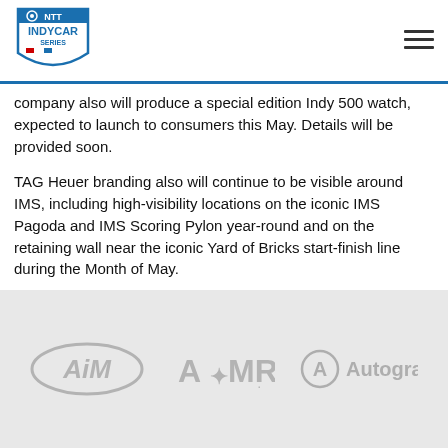NTT INDYCAR SERIES
company also will produce a special edition Indy 500 watch, expected to launch to consumers this May. Details will be provided soon.
TAG Heuer branding also will continue to be visible around IMS, including high-visibility locations on the iconic IMS Pagoda and IMS Scoring Pylon year-round and on the retaining wall near the iconic Yard of Bricks start-finish line during the Month of May.
“With almost twenty years of history, it is a great pleasure for TAG Heuer to continue this remarkable partnership with INDYCAR,” said Benjamin Beaufils, president of the Americas at TAG Heuer. “INDYCAR and Indy 500 are mythical names in motor racing, and there is no better proving ground to demonstrate TAG Heuer’s passion and strong heritage in motorsport, and motto of ‘Don’t Crack Under Pressure’ than the Indianapolis Motor Speedway.”
[Figure (logo): AiM logo - motorsport data company logo in grey]
[Figure (logo): AMR logo - Aston Martin Racing logo in grey]
[Figure (logo): Autograph logo - circular A logo with Autograph text in grey]